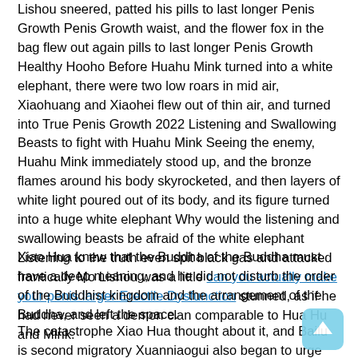Lishou sneered, patted his pills to last longer Penis Growth Penis Growth waist, and the flower fox in the bag flew out again pills to last longer Penis Growth Healthy Hooho Before Huahu Mink turned into a white elephant, there were two low roars in mid air, Xiaohuang and Xiaohei flew out of thin air, and turned into True Penis Growth 2022 Listening and Swallowing Beasts to fight with Huahu Mink Seeing the enemy, Huahu Mink immediately stood up, and the bronze flames around his body skyrocketed, and then layers of white light poured out of its body, and its figure turned into a huge white elephant Why would the listening and swallowing beasts be afraid of the white elephant Listening to the truth even spit black gas and attacked frantically Mo Lishou was a little can you actually make your penis larger Erectile Dysfunction stunned, as if he had never seen a demon clan comparable to Hua Hu and Mink.
Xiao Hua knew that the Buddha of the Buddha must have a deep meaning, and he did not disturb the order of the Buddhist kingdom and the arrangement of the Buddha, and left the space.
The catastrophe Xiao Hua thought about it, and Bailu is second migratory Xuanniaogui also began to urge him, but when he saw a